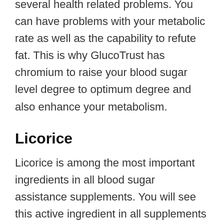several health related problems. You can have problems with your metabolic rate as well as the capability to refute fat. This is why GlucoTrust has chromium to raise your blood sugar level degree to optimum degree and also enhance your metabolism.
Licorice
Licorice is among the most important ingredients in all blood sugar assistance supplements. You will see this active ingredient in all supplements for dealing with blood sugar degrees. This component works and has actually been confirmed many times with scientific studies. Its core values come from advertising healthy blood glucose in diabetic person clients.